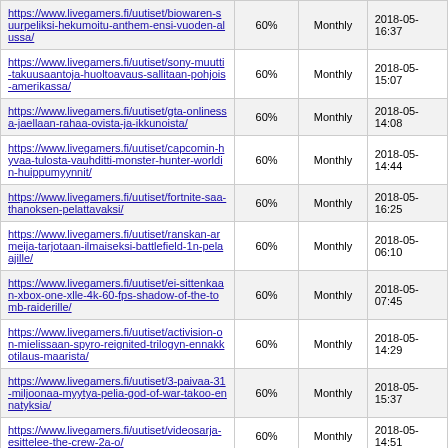| https://www.livegamers.fi/uutiset/biowaren-suurpeliksi-hekumoitu-anthem-ensi-vuoden-alussa/ | 60% | Monthly | 2018-05-
16:37 |
| https://www.livegamers.fi/uutiset/sony-muutti-takuusaantoja-huoltoavaus-sallitaan-pohjois-amerikassa/ | 60% | Monthly | 2018-05-
15:07 |
| https://www.livegamers.fi/uutiset/gta-onlinessa-jaellaan-rahaa-ovista-ja-ikkunoista/ | 60% | Monthly | 2018-05-
14:08 |
| https://www.livegamers.fi/uutiset/capcomin-hyvaa-tulosta-vauhditti-monster-hunter-worldin-huippumyynnit/ | 60% | Monthly | 2018-05-
14:44 |
| https://www.livegamers.fi/uutiset/fortnite-saa-thanoksen-pelattavaksi/ | 60% | Monthly | 2018-05-
16:25 |
| https://www.livegamers.fi/uutiset/ranskan-armeija-tarjotaan-ilmaiseksi-battlefield-1n-pelaajille/ | 60% | Monthly | 2018-05-
06:10 |
| https://www.livegamers.fi/uutiset/ei-sittenkaan-xbox-one-xlle-4k-60-fps-shadow-of-the-tomb-raiderille/ | 60% | Monthly | 2018-05-
07:45 |
| https://www.livegamers.fi/uutiset/activision-on-mielissaan-spyro-reignited-trilogyn-ennakkotilaus-maarista/ | 60% | Monthly | 2018-05-
14:29 |
| https://www.livegamers.fi/uutiset/3-paivaa-31-miljoonaa-myytya-pelia-god-of-war-takoo-ennatyksia/ | 60% | Monthly | 2018-05-
15:37 |
| https://www.livegamers.fi/uutiset/videosarja-esittelee-the-crew-2a-o/ | 60% | Monthly | 2018-05-
14:51 |
| https://www.livegamers.fi/uutiset/god-of-war-the- | 60% | Monthly | 2018-05- |